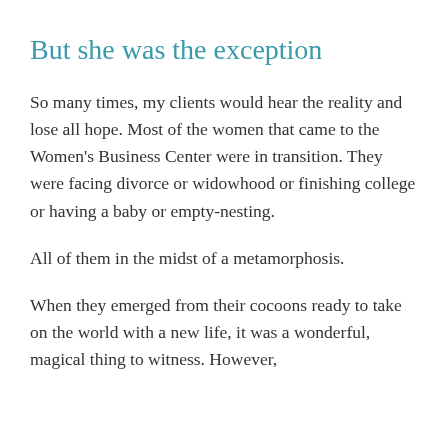But she was the exception
So many times, my clients would hear the reality and lose all hope. Most of the women that came to the Women's Business Center were in transition. They were facing divorce or widowhood or finishing college or having a baby or empty-nesting.
All of them in the midst of a metamorphosis.
When they emerged from their cocoons ready to take on the world with a new life, it was a wonderful, magical thing to witness. However,